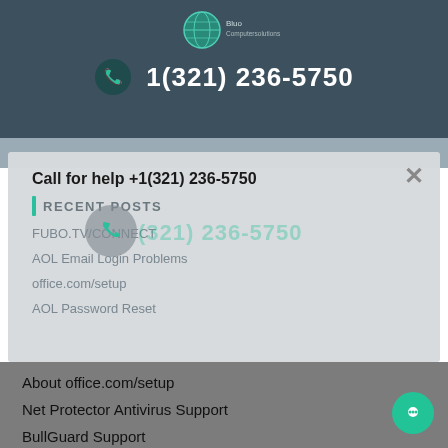[Figure (logo): Globe/world logo with site name text above header]
1(321) 236-5750
Call for help +1(321) 236-5750
RECENT POSTS
FUBO.TV/CONNECT
AOL Email Login Problems
office.com/setup
AOL Password Reset
About office.com/setup
Net Protector Antivirus Support
BullGuard Support